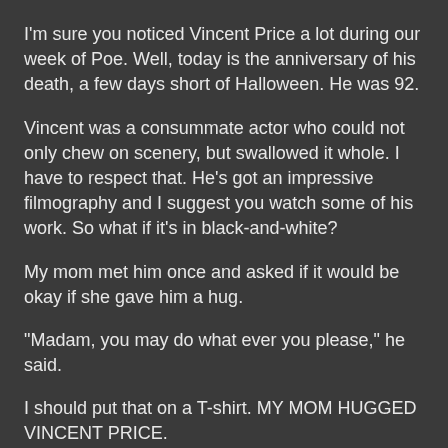I'm sure you noticed Vincent Price a lot during our week of Poe. Well, today is the anniversary of his death, a few days short of Halloween. He was 92.
Vincent was a consummate actor who could not only chew on scenery, but swallowed it whole. I have to respect that. He's got an impressive filmography and I suggest you watch some of his work. So what if it's in black-and-white?
My mom met him once and asked if it would be okay if she gave him a hug.
"Madam, you may do what ever you please," he said.
I should put that on a T-shirt. MY MOM HUGGED VINCENT PRICE.
Plus, he could sing. Oh, what a lovely voice he had.